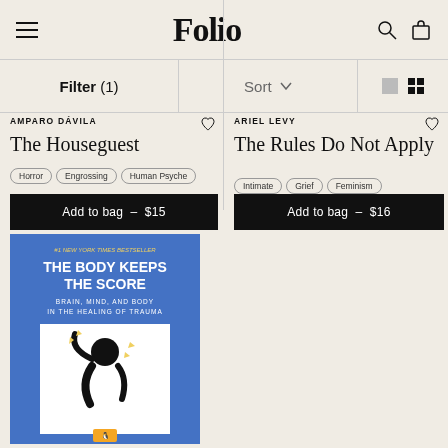Folio
Filter (1)   Sort   [view toggle icons]
AMPARO DÁVILA
The Houseguest
Horror  Engrossing  Human Psyche
Add to bag — $15
ARIEL LEVY
The Rules Do Not Apply
Intimate  Grief  Feminism
Add to bag — $16
[Figure (photo): Book cover of 'The Body Keeps the Score: Brain, Mind, and Body in the Healing of Trauma' — blue cover with a stylized black figure silhouette and yellow leaf/sparkle elements]